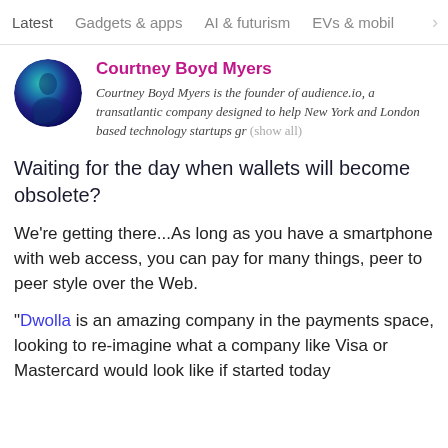Latest  Gadgets & apps  AI & futurism  EVs & mobil  >
[Figure (photo): Circular profile photo of Courtney Boyd Myers with blue-green teal tones]
Courtney Boyd Myers
Courtney Boyd Myers is the founder of audience.io, a transatlantic company designed to help New York and London based technology startups gr (show all)
Waiting for the day when wallets will become obsolete?
We're getting there...As long as you have a smartphone with web access, you can pay for many things, peer to peer style over the Web.
“Dwolla is an amazing company in the payments space, looking to re-imagine what a company like Visa or Mastercard would look like if started today